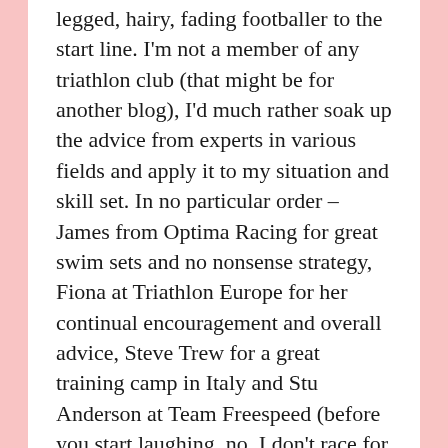legged, hairy, fading footballer to the start line. I'm not a member of any triathlon club (that might be for another blog), I'd much rather soak up the advice from experts in various fields and apply it to my situation and skill set. In no particular order – James from Optima Racing for great swim sets and no nonsense strategy, Fiona at Triathlon Europe for her continual encouragement and overall advice, Steve Trew for a great training camp in Italy and Stu Anderson at Team Freespeed (before you start laughing, no, I don't race for them) for continual little nuggets of useful information.
So, that's it. The A race for 2018 is over and with it a little void. Thoughts are already churning around my head as to what the next challenge might be. Nothing looks likely to be able to